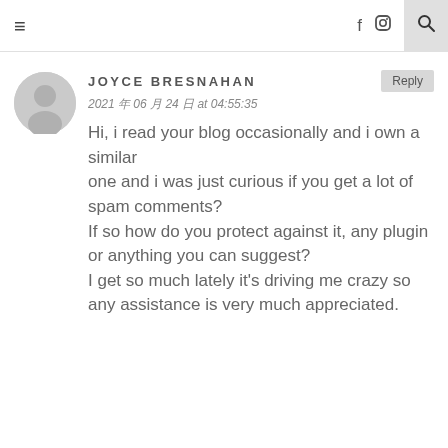≡  f  ⊡  🔍
JOYCE BRESNAHAN
2021 年 06 月 24 日 at 04:55:35
Hi, i read your blog occasionally and i own a similar one and i was just curious if you get a lot of spam comments? If so how do you protect against it, any plugin or anything you can suggest? I get so much lately it's driving me crazy so any assistance is very much appreciated.